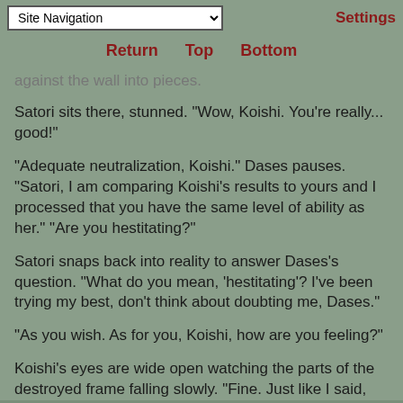Site Navigation | Settings
Return  Top  Bottom
against the wall into pieces.
Satori sits there, stunned. "Wow, Koishi. You're really... good!"
"Adequate neutralization, Koishi." Dases pauses. "Satori, I am comparing Koishi's results to yours and I processed that you have the same level of ability as her." "Are you hestitating?"
Satori snaps back into reality to answer Dases's question. "What do you mean, 'hestitating'? I've been trying my best, don't think about doubting me, Dases."
"As you wish. As for you, Koishi, how are you feeling?"
Koishi's eyes are wide open watching the parts of the destroyed frame falling slowly. "Fine. Just like I said,